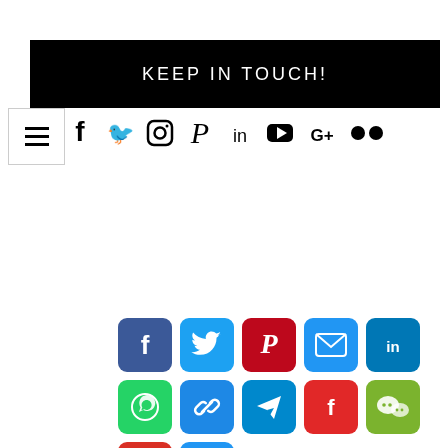KEEP IN TOUCH!
[Figure (infographic): Social media icon bar with hamburger menu and icons for Facebook, Twitter, Instagram, Pinterest, LinkedIn, YouTube, Google+, Flickr]
[Figure (infographic): Grid of social share buttons: Facebook, Twitter, Pinterest, Email, LinkedIn (row 1); WhatsApp, Copy Link, Telegram, Flipboard, WeChat (row 2); Gmail, More (row 3)]